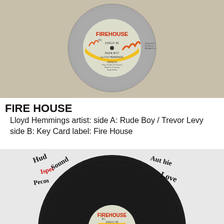[Figure (photo): Photo of a vinyl record label - Fire House label with flames graphic, showing DISCO 45, Rude Boy by Lloyd Hemmings]
FIRE HOUSE
Lloyd Hemmings artist: side A: Rude Boy / Trevor Levy side B: Key Card label: Fire House
[Figure (photo): Photo of a black vinyl record disc with handwritten text 'Hud Ispet Pecos Sound' on left and 'Aut hie Love' on right, Fire House label visible at bottom center]